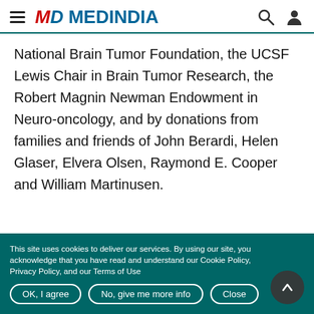MEDINDIA
National Brain Tumor Foundation, the UCSF Lewis Chair in Brain Tumor Research, the Robert Magnin Newman Endowment in Neuro-oncology, and by donations from families and friends of John Berardi, Helen Glaser, Elvera Olsen, Raymond E. Cooper and William Martinusen.
This site uses cookies to deliver our services. By using our site, you acknowledge that you have read and understand our Cookie Policy, Privacy Policy, and our Terms of Use